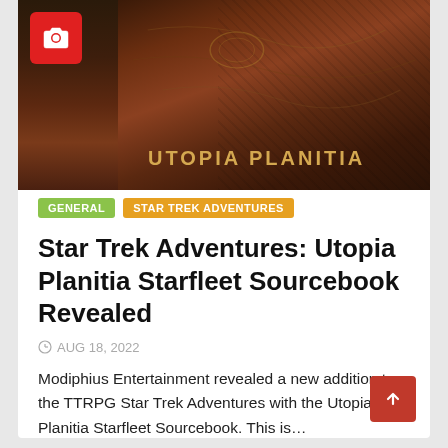[Figure (photo): Book cover of Star Trek Adventures: Utopia Planitia Starfleet Sourcebook, dark reddish-brown textured cover with gold text reading UTOPIA PLANITIA at the bottom]
GENERAL
STAR TREK ADVENTURES
Star Trek Adventures: Utopia Planitia Starfleet Sourcebook Revealed
AUG 18, 2022
Modiphius Entertainment revealed a new addition to the TTRPG Star Trek Adventures with the Utopia Planitia Starfleet Sourcebook. This is…